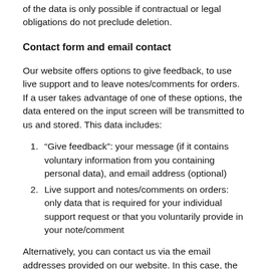of the data is only possible if contractual or legal obligations do not preclude deletion.
Contact form and email contact
Our website offers options to give feedback, to use live support and to leave notes/comments for orders. If a user takes advantage of one of these options, the data entered on the input screen will be transmitted to us and stored. This data includes:
“Give feedback”: your message (if it contains voluntary information from you containing personal data), and email address (optional)
Live support and notes/comments on orders: only data that is required for your individual support request or that you voluntarily provide in your note/comment
Alternatively, you can contact us via the email addresses provided on our website. In this case, the user’s personal data transmitted by email will be stored